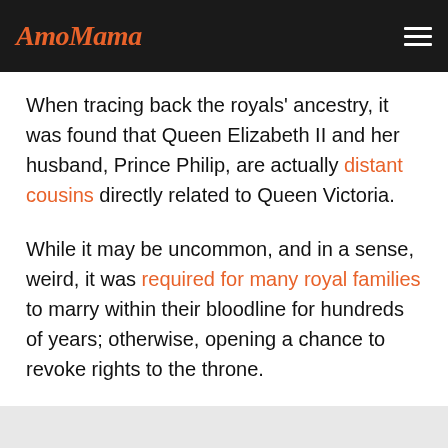AmoMama
When tracing back the royals' ancestry, it was found that Queen Elizabeth II and her husband, Prince Philip, are actually distant cousins directly related to Queen Victoria.
While it may be uncommon, and in a sense, weird, it was required for many royal families to marry within their bloodline for hundreds of years; otherwise, opening a chance to revoke rights to the throne.